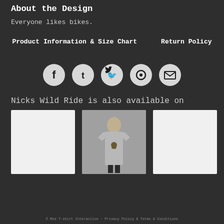About the Design
Everyone likes bikes.
Product Information & Size Chart    Return Policy
[Figure (infographic): Social media sharing icons: Facebook, Tumblr, Twitter, Pinterest, Email — all in circular grey buttons]
Nicks Wild Ride is also available on
[Figure (photo): Three product thumbnail images: left is a blank white product, middle is a grey v-neck t-shirt with a man's face and bike graphic worn by a model, right is another blank white product]
© Red T-shirt Interactive · Privacy Policy & Terms & Conditions